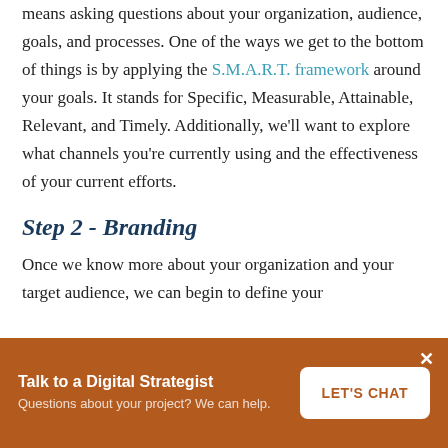means asking questions about your organization, audience, goals, and processes. One of the ways we get to the bottom of things is by applying the S.M.A.R.T. framework around your goals. It stands for Specific, Measurable, Attainable, Relevant, and Timely. Additionally, we'll want to explore what channels you're currently using and the effectiveness of your current efforts.
Step 2 - Branding
Once we know more about your organization and your target audience, we can begin to define your
Talk to a Digital Strategist
Questions about your project? We can help.